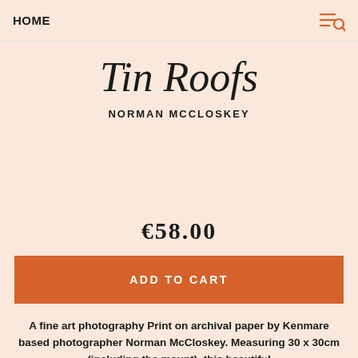HOME
Tin Roofs
NORMAN MCCLOSKEY
€58.00
ADD TO CART
A fine art photography Print on archival paper by Kenmare based photographer Norman McCloskey. Measuring 30 x 30cm (including the mount), this beautiful